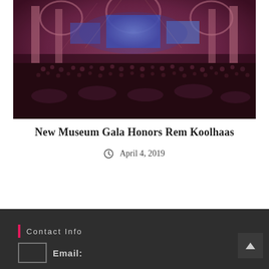[Figure (photo): Interior of a grand hall filled with hundreds of gala attendees seated at tables. Blue-lit stage/screens visible in the background. Warm pink/magenta ambient lighting illuminates arched classical architecture columns.]
New Museum Gala Honors Rem Koolhaas
April 4, 2019
Contact Info
Email: